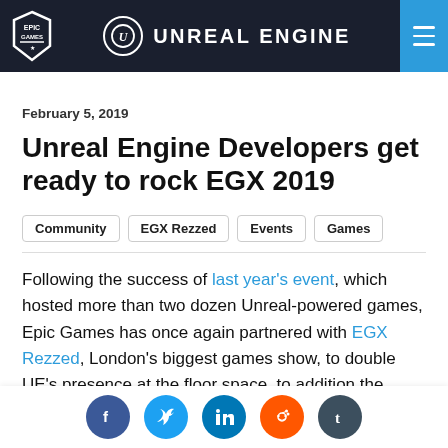UNREAL ENGINE
February 5, 2019
Unreal Engine Developers get ready to rock EGX 2019
Community
EGX Rezzed
Events
Games
Following the success of last year's event, which hosted more than two dozen Unreal-powered games, Epic Games has once again partnered with EGX Rezzed, London's biggest games show, to double UE's presence at the floor space, to addition the...